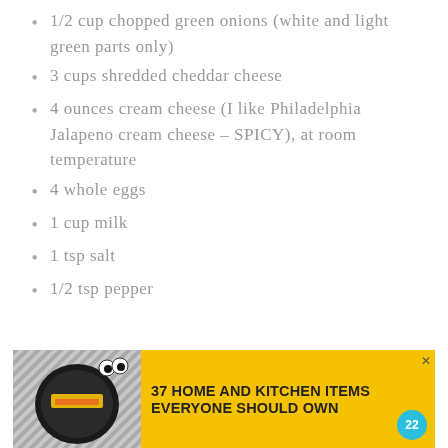1/2 cup chopped green onions (white and light green parts only)
3 cups shredded cheddar cheese
4 ounces cream cheese (I like Philadelphia Jalapeno cream cheese – SPICY), at room temperature
4 whole eggs
1 cup milk
1 tsp salt
1/2 tsp pepper
[Figure (other): Advertisement banner: '37 HOME AND KITCHEN ITEMS EVERYONE SHOULD OWN' with yellow background, food image on left, and a teal badge with '22']
Preheat oven to 350.  Spray a 9×13 pan with nonstick spray.  Stir together the potatoes and 2